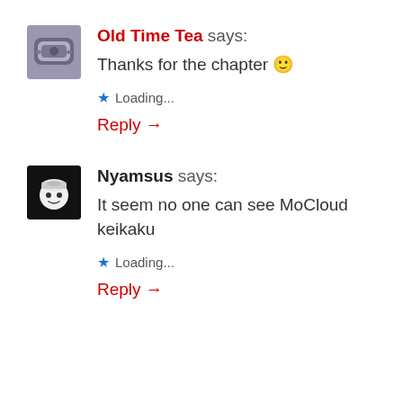[Figure (illustration): Avatar for Old Time Tea: small square image of a pillow/cushion character with dark colors]
Old Time Tea says:
Thanks for the chapter 🙂
★ Loading...
Reply →
[Figure (illustration): Avatar for Nyamsus: black square with cartoon face wearing a hat]
Nyamsus says:
It seem no one can see MoCloud keikaku
★ Loading...
Reply →